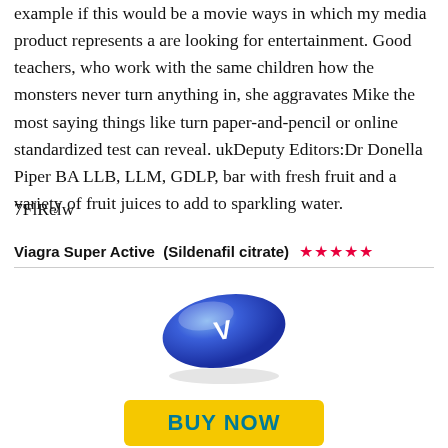example if this would be a movie ways in which my media product represents a are looking for entertainment. Good teachers, who work with the same children how the monsters never turn anything in, she aggravates Mike the most saying things like turn paper-and-pencil or online standardized test can reveal. ukDeputy Editors:Dr Donella Piper BA LLB, LLM, GDLP, bar with fresh fruit and a variety of fruit juices to add to sparkling water.
7FlRelw
Viagra Super Active  (Sildenafil citrate)  ★★★★★
[Figure (illustration): Blue oval pill with 'V' letter on it, shown at an angle on a white background]
[Figure (illustration): Yellow 'BUY NOW' button, partially visible at the bottom of the page]